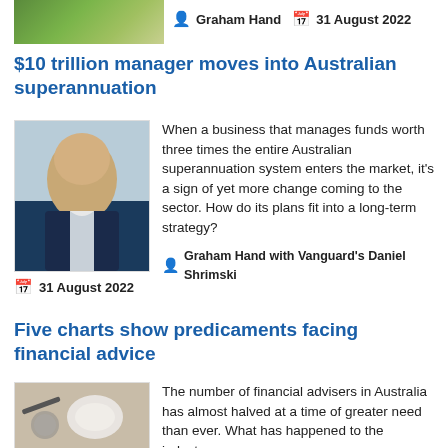[Figure (photo): Green grassy landscape thumbnail image at top left]
Graham Hand  31 August 2022
$10 trillion manager moves into Australian superannuation
[Figure (photo): Portrait photo of a man in a dark suit and tie]
When a business that manages funds worth three times the entire Australian superannuation system enters the market, it's a sign of yet more change coming to the sector. How do its plans fit into a long-term strategy?
Graham Hand with Vanguard's Daniel Shrimski
31 August 2022
Five charts show predicaments facing financial advice
[Figure (photo): Photo of a coffee cup and glasses on a table]
The number of financial advisers in Australia has almost halved at a time of greater need than ever. What has happened to the industry